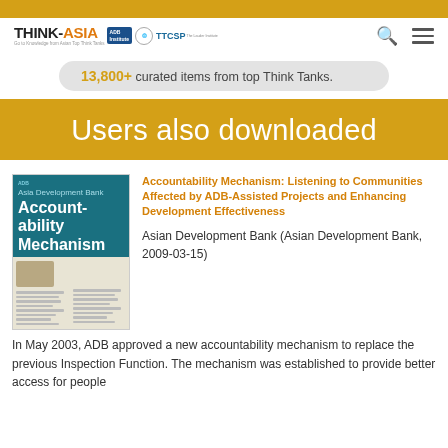[Figure (logo): THINK-ASIA logo with ADB and TTCSP partner badges]
13,800+ curated items from top Think Tanks.
Users also downloaded
[Figure (illustration): Book cover: Accountability Mechanism with teal top section and document layout below]
Accountability Mechanism: Listening to Communities Affected by ADB-Assisted Projects and Enhancing Development Effectiveness
Asian Development Bank (Asian Development Bank, 2009-03-15)
In May 2003, ADB approved a new accountability mechanism to replace the previous Inspection Function. The mechanism was established to provide better access for people